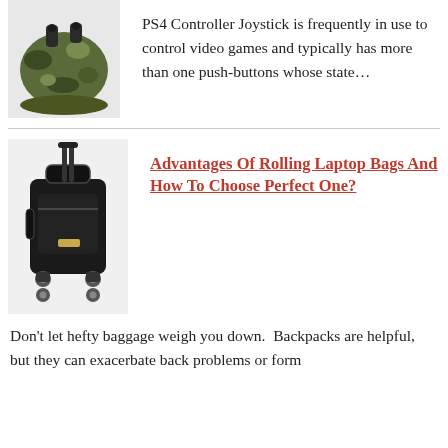[Figure (photo): Camouflage-patterned PS4 controller joystick, partially cropped at top of page]
PS4 Controller Joystick is frequently in use to control video games and typically has more than one push-buttons whose state…
[Figure (photo): Black rolling laptop bag with retractable handle and four wheels]
Advantages Of Rolling Laptop Bags And How To Choose Perfect One?
Don't let hefty baggage weigh you down.  Backpacks are helpful, but they can exacerbate back problems or form